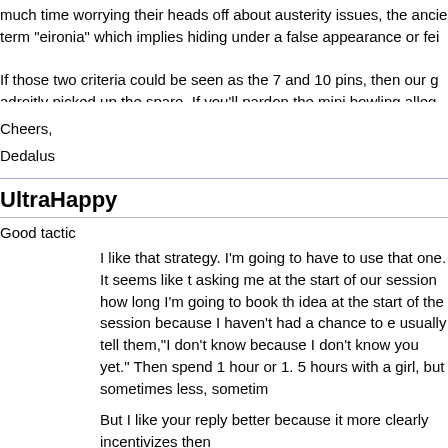much time worrying their heads off about austerity issues, the ancient term "eironia" which implies hiding under a false appearance or feig...
If those two criteria could be seen as the 7 and 10 pins, then our go adroitly picked up the spare. If you'll pardon the mini bowling alleg...
Cheers,
Dedalus
UltraHappy
Good tactic
I like that strategy. I'm going to have to use that one. It seems like t asking me at the start of our session how long I'm going to book th idea at the start of the session because I haven't had a chance to e usually tell them,"I don't know because I don't know you yet." Then spend 1 hour or 1. 5 hours with a girl, but sometimes less, sometim...
But I like your reply better because it more clearly incentivizes then...
How the heck is a guy supposed to answer that question when he l with the girl in question? I often wonder whether the girls ever get a of the other guys from posing that question. I can totally understan girls asks me that question. Then, I actually have a basis for answe...